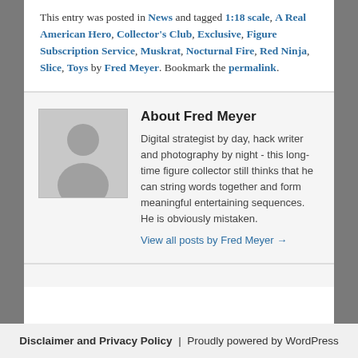This entry was posted in News and tagged 1:18 scale, A Real American Hero, Collector's Club, Exclusive, Figure Subscription Service, Muskrat, Nocturnal Fire, Red Ninja, Slice, Toys by Fred Meyer. Bookmark the permalink.
[Figure (photo): Generic avatar placeholder image (grey silhouette of a person on grey background)]
About Fred Meyer
Digital strategist by day, hack writer and photography by night - this long-time figure collector still thinks that he can string words together and form meaningful entertaining sequences. He is obviously mistaken.
View all posts by Fred Meyer →
Disclaimer and Privacy Policy  |  Proudly powered by WordPress